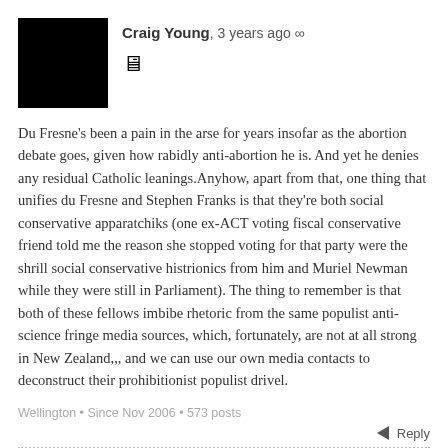Craig Young, 3 years ago ∞
Du Fresne's been a pain in the arse for years insofar as the abortion debate goes, given how rabidly anti-abortion he is. And yet he denies any residual Catholic leanings.Anyhow, apart from that, one thing that unifies du Fresne and Stephen Franks is that they're both social conservative apparatchiks (one ex-ACT voting fiscal conservative friend told me the reason she stopped voting for that party were the shrill social conservative histrionics from him and Muriel Newman while they were still in Parliament). The thing to remember is that both of these fellows imbibe rhetoric from the same populist anti-science fringe media sources, which, fortunately, are not at all strong in New Zealand,,, and we can use our own media contacts to deconstruct their prohibitionist populist drivel.
Wellington • Since Nov 2006 • 573 posts